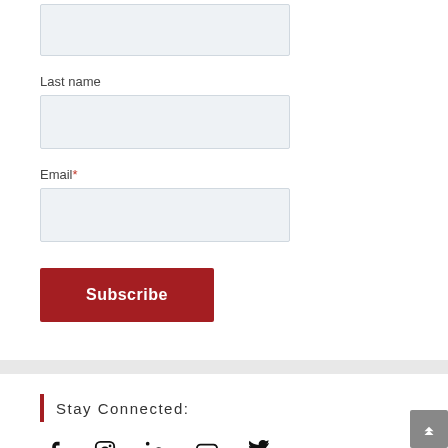Last name
Email*
Subscribe
Stay Connected:
[Figure (infographic): Social media icons: Facebook, Instagram, LinkedIn, YouTube, Twitter]